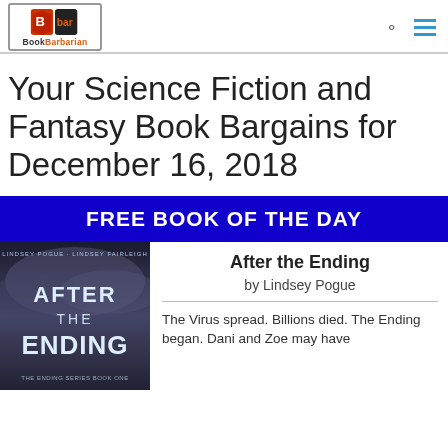[Figure (logo): BookBarbarian logo — orange and black shield icon with stylized figure, text 'BookBarbarian' below]
Your Science Fiction and Fantasy Book Bargains for December 16, 2018
FREE BOOK OF THE DAY
[Figure (photo): Book cover of 'After the Ending' — dark stormy sky background with large text 'AFTER THE ENDING', authors Lindsey Pogue and Lindsey Fairleigh at top, subtitle 'The Ending Series Book One' at bottom]
After the Ending
by Lindsey Pogue
The Virus spread. Billions died. The Ending began. Dani and Zoe may have